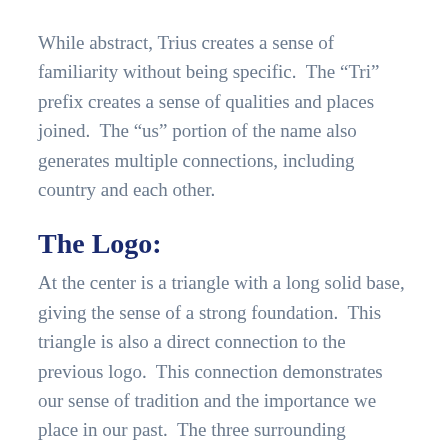While abstract, Trius creates a sense of familiarity without being specific.  The “Tri” prefix creates a sense of qualities and places joined.  The “us” portion of the name also generates multiple connections, including country and each other.
The Logo:
At the center is a triangle with a long solid base, giving the sense of a strong foundation.  This triangle is also a direct connection to the previous logo.  This connection demonstrates our sense of tradition and the importance we place in our past.  The three surrounding “swooshes” encompass the